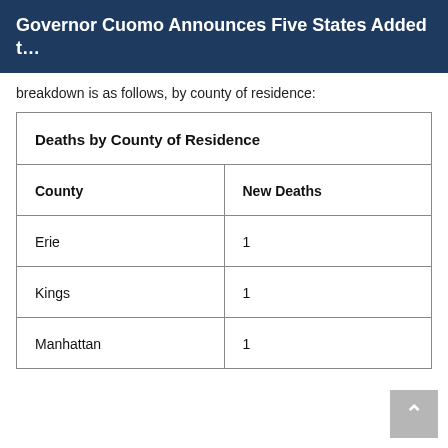Governor Cuomo Announces Five States Added t…
breakdown is as follows, by county of residence:
| County | New Deaths |
| --- | --- |
| Erie | 1 |
| Kings | 1 |
| Manhattan | 1 |